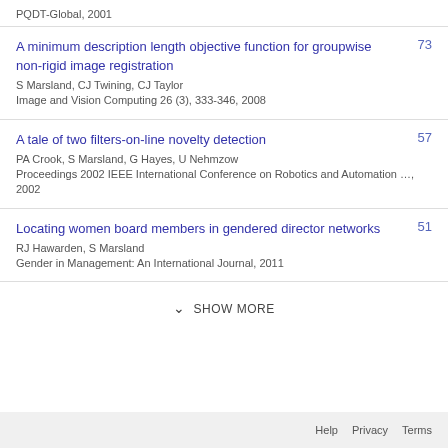PQDT-Global, 2001
A minimum description length objective function for groupwise non-rigid image registration
S Marsland, CJ Twining, CJ Taylor
Image and Vision Computing 26 (3), 333-346, 2008
73
A tale of two filters-on-line novelty detection
PA Crook, S Marsland, G Hayes, U Nehmzow
Proceedings 2002 IEEE International Conference on Robotics and Automation …, 2002
57
Locating women board members in gendered director networks
RJ Hawarden, S Marsland
Gender in Management: An International Journal, 2011
51
SHOW MORE
Help   Privacy   Terms